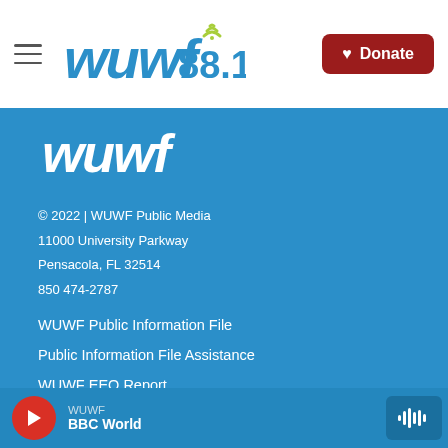WUWF 88.1 — navigation bar with hamburger menu and Donate button
[Figure (logo): WUWF 88.1 radio station logo in blue with green wifi signal arcs above the numerals]
[Figure (logo): WUWF wordmark in white italic bold text on blue background]
© 2022 | WUWF Public Media
11000 University Parkway
Pensacola, FL 32514
850 474-2787
WUWF Public Information File
Public Information File Assistance
WUWF EEO Report
About Us
Donate Now
WUWF  BBC World  (player bar)